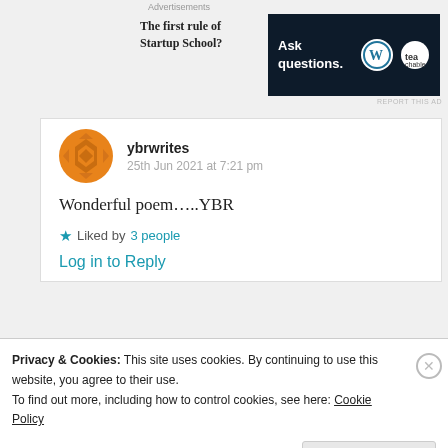Advertisements
[Figure (screenshot): Advertisement banner: left side shows bold text 'The first rule of Startup School?' and right side shows a dark navy banner with text 'Ask questions.' and WordPress and Teachable logos]
REPORT THIS AD
ybrwrites
25th Jun 2021 at 7:21 pm
Wonderful poem…..YBR
★ Liked by 3 people
Log in to Reply
Privacy & Cookies: This site uses cookies. By continuing to use this website, you agree to their use.
To find out more, including how to control cookies, see here: Cookie Policy
Close and accept